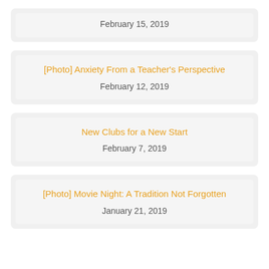February 15, 2019
[Photo] Anxiety From a Teacher's Perspective
February 12, 2019
New Clubs for a New Start
February 7, 2019
[Photo] Movie Night: A Tradition Not Forgotten
January 21, 2019